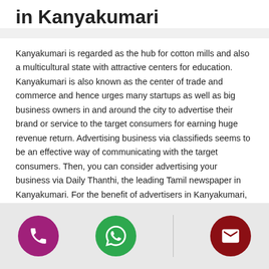in Kanyakumari
Kanyakumari is regarded as the hub for cotton mills and also a multicultural state with attractive centers for education. Kanyakumari is also known as the center of trade and commerce and hence urges many startups as well as big business owners in and around the city to advertise their brand or service to the target consumers for earning huge revenue return. Advertising business via classifieds seems to be an effective way of communicating with the target consumers. Then, you can consider advertising your business via Daily Thanthi, the leading Tamil newspaper in Kanyakumari. For the benefit of advertisers in Kanyakumari, Daily Thanthi offers numerous advertising options in order to attract the consumers in and around Kanyakumari via its...
[Figure (infographic): Three circular icon buttons in a footer bar: purple phone icon, green WhatsApp icon, dark red email/envelope icon, separated by a vertical divider line.]